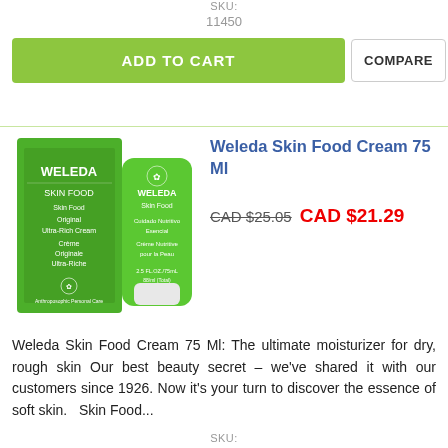SKU:
11450
ADD TO CART
COMPARE
[Figure (photo): Weleda Skin Food cream product photo showing green box and green tube]
Weleda Skin Food Cream 75 Ml
CAD $25.05   CAD $21.29
Weleda Skin Food Cream 75 Ml: The ultimate moisturizer for dry, rough skin Our best beauty secret – we've shared it with our customers since 1926. Now it's your turn to discover the essence of soft skin.   Skin Food...
SKU: